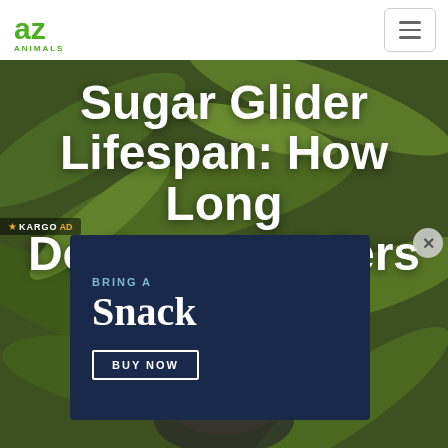[Figure (screenshot): AZ Animals website header with green logo on left and hamburger menu button on right, on white background]
Sugar Glider Lifespan: How Long Do Sugar Gliders
[Figure (other): Kargo ad badge with star icon in top-left of hero area]
[Figure (other): Advertisement overlay with dark navy background showing 'BRING A Snack' text and a 'BUY NOW' button, with close X button in top right corner]
[Figure (photo): Blurred green jungle foliage background with a sugar glider animal partially visible at the bottom of the page]